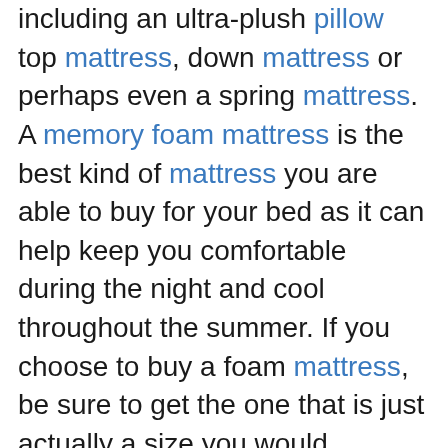including an ultra-plush pillow top mattress, down mattress or perhaps even a spring mattress. A memory foam mattress is the best kind of mattress you are able to buy for your bed as it can help keep you comfortable during the night and cool throughout the summer. If you choose to buy a foam mattress, be sure to get the one that is just actually a size you would ordinarily sleep on.
There are many modest things you may add to your room to make it look nicer. Adding a new rug is a wonderful way to bring extra seats into a space. A major thing that folks tend to overlook with a room is mirroring. Mirrors help represent light, that may make a room seem larger. You can add a chandelier to your bedroom to bring some additional